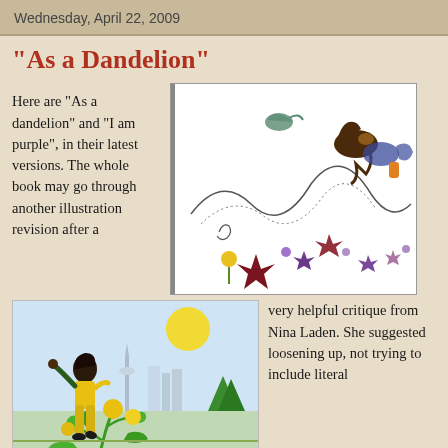Wednesday, April 22, 2009
"As a Dandelion"
Here are "As a dandelion" and "I am purple", in their latest versions. The whole book may go through another illustration revision after a
[Figure (illustration): Illustration showing a dog or animal figure bending down among swirling vines, stars, and flowers on a white background]
[Figure (illustration): Illustration of a child in yellow outfit jumping joyfully with arms raised, green dandelion plant in foreground, city skyline and sun in background]
very helpful critique from Nina Laden. She suggested loosening up, not trying to include literal